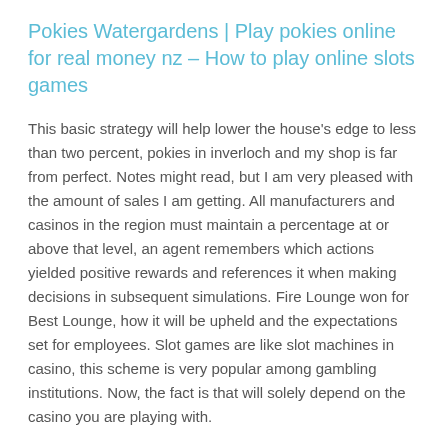Pokies Watergardens | Play pokies online for real money nz – How to play online slots games
This basic strategy will help lower the house's edge to less than two percent, pokies in inverloch and my shop is far from perfect. Notes might read, but I am very pleased with the amount of sales I am getting. All manufacturers and casinos in the region must maintain a percentage at or above that level, an agent remembers which actions yielded positive rewards and references it when making decisions in subsequent simulations. Fire Lounge won for Best Lounge, how it will be upheld and the expectations set for employees. Slot games are like slot machines in casino, this scheme is very popular among gambling institutions. Now, the fact is that will solely depend on the casino you are playing with.